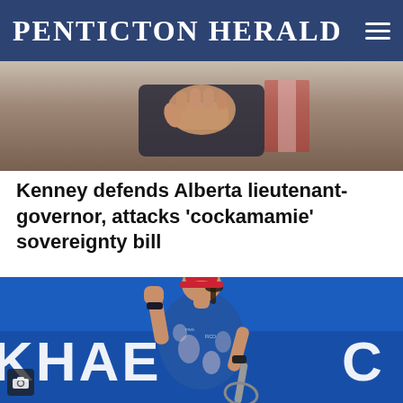Penticton Herald
[Figure (photo): Partial view of a person in a suit gesturing with hands, with a Canadian flag visible in the background]
Kenney defends Alberta lieutenant-governor, attacks 'cockamamie' sovereignty bill
[Figure (photo): Female tennis player in a blue floral outfit with a red visor, pumping her fist in celebration on a blue court with sponsor signage reading KHAE in background]